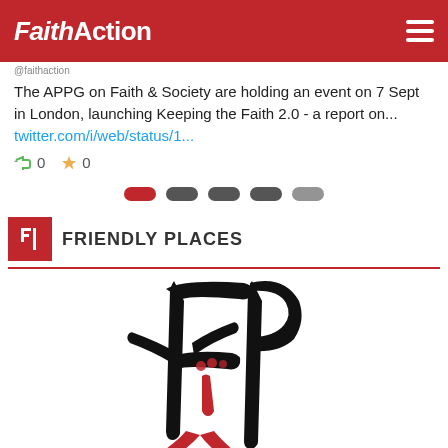FaithAction
@faithaction
The APPG on Faith & Society are holding an event on 7 Sept in London, launching Keeping the Faith 2.0 - a report on... twitter.com/i/web/status/1...
0   0
[Figure (other): Pagination indicator with 5 rounded pill shapes, first one red (active), rest dark grey]
FRIENDLY PLACES
[Figure (logo): Friendly Places logo — stylized figure with outstretched arms forming letters FP in black brushstroke style with red accent marks]